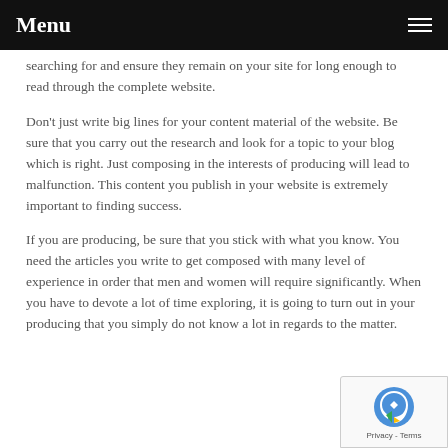Menu
searching for and ensure they remain on your site for long enough to read through the complete website.
Don't just write big lines for your content material of the website. Be sure that you carry out the research and look for a topic to your blog which is right. Just composing in the interests of producing will lead to malfunction. This content you publish in your website is extremely important to finding success.
If you are producing, be sure that you stick with what you know. You need the articles you write to get composed with many level of experience in order that men and women will require significantly. When you have to devote a lot of time exploring, it is going to turn out in your producing that you simply do not know a lot in regards to the matter.